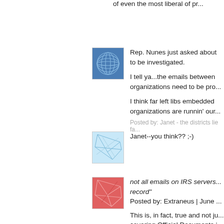of even the most liberal of pr...
[Figure (illustration): Blue globe mesh avatar icon]
Rep. Nunes just asked about ... to be investigated.

I tell ya...the emails between ... organizations need to be pro...

I think far left libs embedded ... organizations are runnin' our ...
Posted by: Janet - the districts lie fa...
[Figure (illustration): Light blue network lines avatar icon]
Janet--you think?? ;-)
[Figure (illustration): Pink/red network lines avatar icon]
not all emails on IRS servers ... record"
Posted by: Extraneus | June ...
This is, in fact, true and not ju... covering Official Documents i...